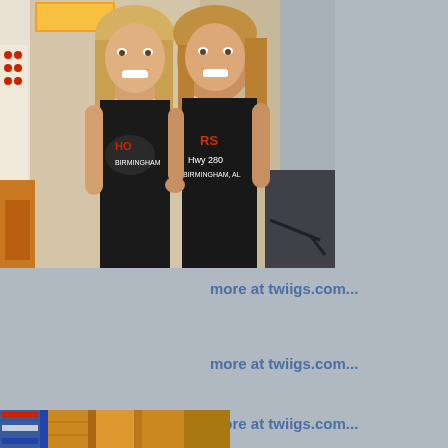[Figure (photo): Two young women smiling and posing together, both wearing black Hooters tank tops with Hooters logo and text reading 'Hwy 280 Birmingham, AL' in an indoor setting.]
more at twiigs.com...
more at twiigs.com...
more at twiigs.com...
[Figure (photo): Partial view of a colorful patterned item at the bottom of the page, cropped.]